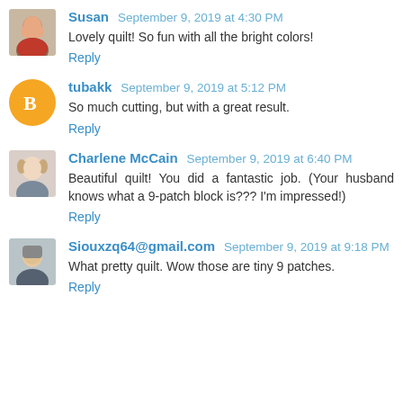[Figure (photo): Small avatar photo of Susan, a woman]
Susan September 9, 2019 at 4:30 PM
Lovely quilt! So fun with all the bright colors!
Reply
[Figure (illustration): Orange circle avatar with white Blogger 'B' icon for tubakk]
tubakk September 9, 2019 at 5:12 PM
So much cutting, but with a great result.
Reply
[Figure (photo): Small avatar photo of Charlene McCain, a woman with blonde hair]
Charlene McCain September 9, 2019 at 6:40 PM
Beautiful quilt! You did a fantastic job. (Your husband knows what a 9-patch block is??? I'm impressed!)
Reply
[Figure (photo): Small avatar photo of Siouxzq64@gmail.com]
Siouxzq64@gmail.com September 9, 2019 at 9:18 PM
What pretty quilt. Wow those are tiny 9 patches.
Reply